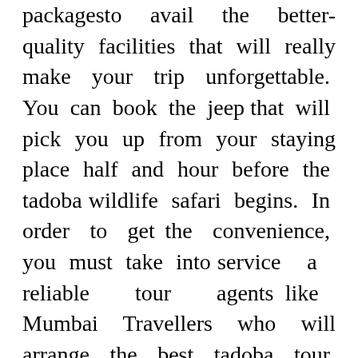packagesto avail the better-quality facilities that will really make your trip unforgettable. You can book the jeep that will pick you up from your staying place half and hour before the tadoba wildlife safari begins. In order to get the convenience, you must take into service a reliable tour agents like Mumbai Travellers who will arrange the best tadoba tour packages for you and your family. The tour agents will not only bring you some important services, but also explicate complete information concerning the safari timings.